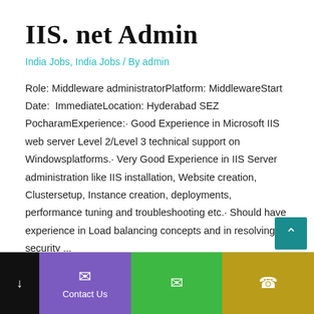IIS. net Admin
India Jobs, India Jobs / By admin
Role: Middleware administratorPlatform: MiddlewareStart Date:  ImmediateLocation: Hyderabad SEZ PocharamExperience:• Good Experience in Microsoft IIS web server Level 2/Level 3 technical support on Windowsplatforms.• Very Good Experience in IIS Server administration like IIS installation, Website creation, Clustersetup, Instance creation, deployments, performance tuning and troubleshooting etc.• Should have experience in Load balancing concepts and in resolving security ...
Read More »
Contact Us